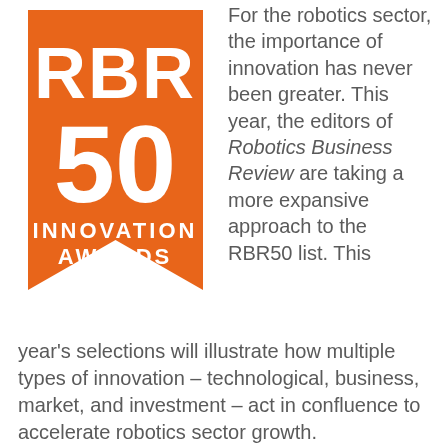[Figure (logo): RBR 50 Innovation Awards orange ribbon badge logo with white text]
For the robotics sector, the importance of innovation has never been greater. This year, the editors of Robotics Business Review are taking a more expansive approach to the RBR50 list. This year's selections will illustrate how multiple types of innovation – technological, business, market, and investment – act in confluence to accelerate robotics sector growth.